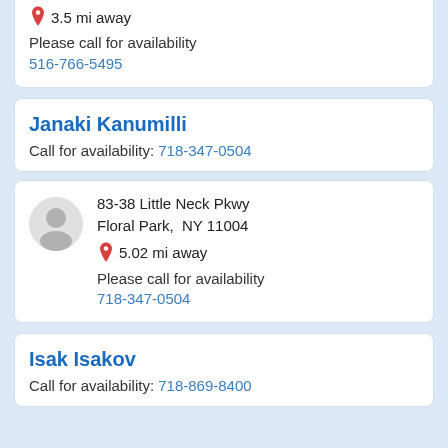3.5 mi away
Please call for availability
516-766-5495
Janaki Kanumilli
Call for availability: 718-347-0504
83-38 Little Neck Pkwy
Floral Park, NY 11004
5.02 mi away
Please call for availability
718-347-0504
Isak Isakov
Call for availability: 718-869-8400